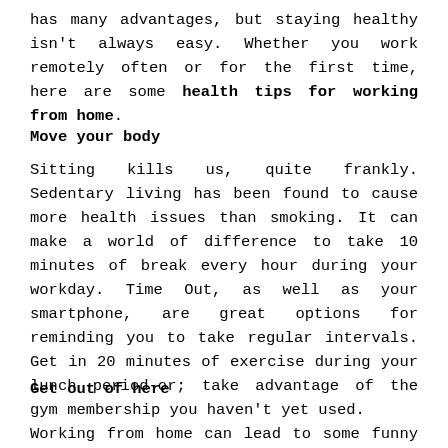has many advantages, but staying healthy isn't always easy. Whether you work remotely often or for the first time, here are some health tips for working from home.
Move your body
Sitting kills us, quite frankly. Sedentary living has been found to cause more health issues than smoking. It can make a world of difference to take 10 minutes of break every hour during your workday. Time Out, as well as your smartphone, are great options for reminding you to take regular intervals. Get in 20 minutes of exercise during your lunch period-or; take advantage of the gym membership you haven't yet used.
Get out of here
Working from home can lead to some funny things